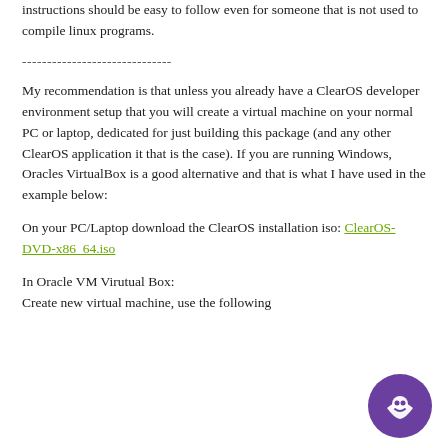instructions should be easy to follow even for someone that is not used to compile linux programs.
------------------------------
My recommendation is that unless you already have a ClearOS developer environment setup that you will create a virtual machine on your normal PC or laptop, dedicated for just building this package (and any other ClearOS application it that is the case). If you are running Windows, Oracles VirtualBox is a good alternative and that is what I have used in the example below:
On your PC/Laptop download the ClearOS installation iso: ClearOS-DVD-x86_64.iso
In Oracle VM Virutual Box:
Create new virtual machine, use the following